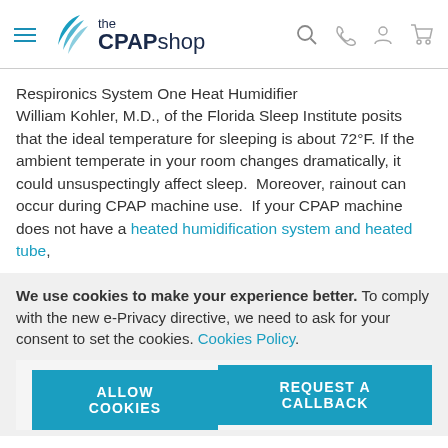the CPAP shop
Respironics System One Heat Humidifier
William Kohler, M.D., of the Florida Sleep Institute posits that the ideal temperature for sleeping is about 72°F. If the ambient temperate in your room changes dramatically, it could unsuspectingly affect sleep.  Moreover, rainout can occur during CPAP machine use.  If your CPAP machine does not have a heated humidification system and heated tube,
We use cookies to make your experience better. To comply with the new e-Privacy directive, we need to ask for your consent to set the cookies. Cookies Policy.
ALLOW COOKIES
REQUEST A CALLBACK